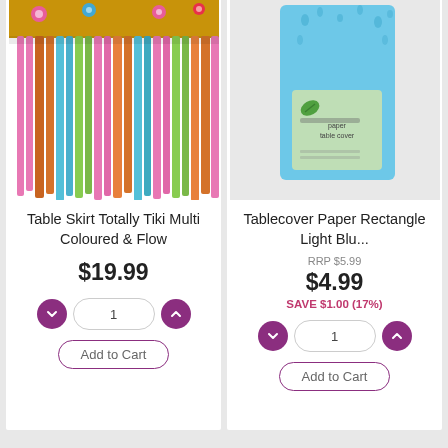[Figure (photo): Table Skirt Totally Tiki Multi Coloured with flowing fringe strands in pink, blue, green, orange colors with flower decorations on top]
Table Skirt Totally Tiki Multi Coloured & Flow
$19.99
[Figure (photo): Tablecover Paper Rectangle Light Blue product in packaging showing a light blue tablecloth with water droplet design, EcoProducts brand]
Tablecover Paper Rectangle Light Blu...
RRP $5.99
$4.99
SAVE $1.00 (17%)